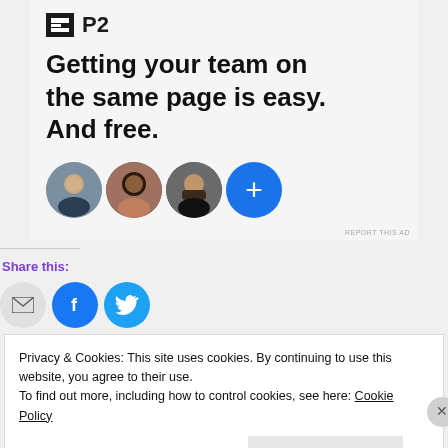[Figure (screenshot): P2 app advertisement with logo, headline 'Getting your team on the same page is easy. And free.' and three user avatar photos plus a blue plus button]
Share this:
[Figure (infographic): Share buttons: email (envelope icon), Facebook (f icon), Twitter (bird icon)]
Privacy & Cookies: This site uses cookies. By continuing to use this website, you agree to their use.
To find out more, including how to control cookies, see here: Cookie Policy
Close and accept